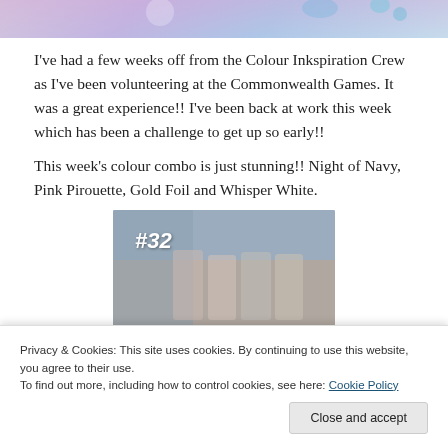[Figure (photo): Top portion of a photo with pastel purple/pink and blue tones, blurred background with floral elements]
I've had a few weeks off from the Colour Inkspiration Crew as I've been volunteering at the Commonwealth Games.  It was a great experience!!  I've been back at work this week which has been a challenge to get up so early!!
This week's colour combo is just stunning!!  Night of Navy, Pink Pirouette, Gold Foil and Whisper White.
[Figure (photo): Photo labeled #32 showing decorative items on a grey/blue background, partially visible]
Privacy & Cookies: This site uses cookies. By continuing to use this website, you agree to their use.
To find out more, including how to control cookies, see here: Cookie Policy
Close and accept